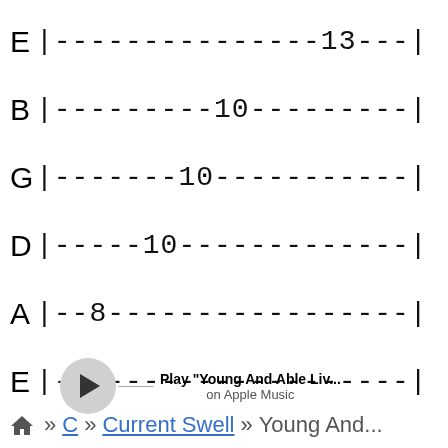[Figure (other): Guitar tablature showing 6 strings (E, B, G, D, A, E) with fret numbers: E-13, B-10, G-10, D-10, A-8, E (open)]
Play "Young And Able Liv... on Apple Music
Home » C » Current Swell » Young And...